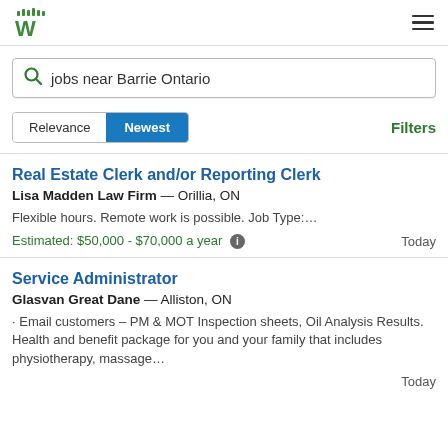Workopolis logo and navigation menu
jobs near Barrie Ontario
Relevance  Newest  Filters
Real Estate Clerk and/or Reporting Clerk
Lisa Madden Law Firm — Orillia, ON
Flexible hours. Remote work is possible. Job Type:…
Estimated: $50,000 - $70,000 a year  Today
Service Administrator
Glasvan Great Dane — Alliston, ON
· Email customers – PM & MOT Inspection sheets, Oil Analysis Results. Health and benefit package for you and your family that includes physiotherapy, massage…
Today